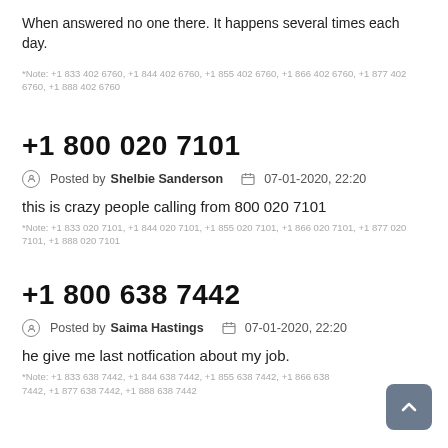When answered no one there. It happens several times each day.
*Note: +1 833 402 6760, +1 844 402 6760, +1 855 402 6760, +1 866 402 6760, +1 877 402 6760, +1 888 402 6760
+1 800 020 7101
Posted by Shelbie Sanderson   07-01-2020, 22:20
this is crazy people calling from 800 020 7101
*Note: +1 833 020 7101, +1 844 020 7101, +1 855 020 7101, +1 866 020 7101, +1 877 020 7101, +1 888 020 7101
+1 800 638 7442
Posted by Saima Hastings   07-01-2020, 22:20
he give me last notfication about my job.
*Note: +1 833 638 7442, +1 844 638 7442, +1 855 638 7442, +1 866 638 7442, +1 877 638 7442, +1 888 638 7442